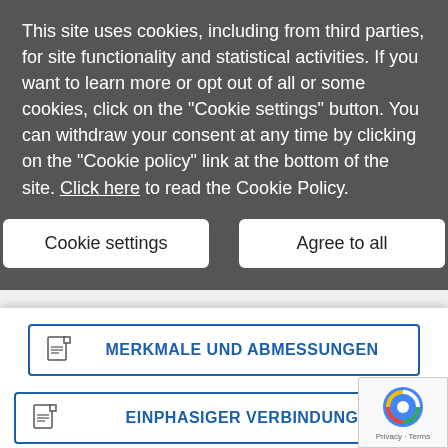This site uses cookies, including from third parties, for site functionality and statistical activities. If you want to learn more or opt out of all or some cookies, click on the "Cookie settings" button. You can withdraw your consent at any time by clicking on the "Cookie policy" link at the bottom of the site. Click here to read the Cookie Policy.
Cookie settings
Agree to all
MERKMALE UND ABMESSUNGEN
EINPHASIGER VERBINDUNG
DREIPHASIGER VERBINDUNG